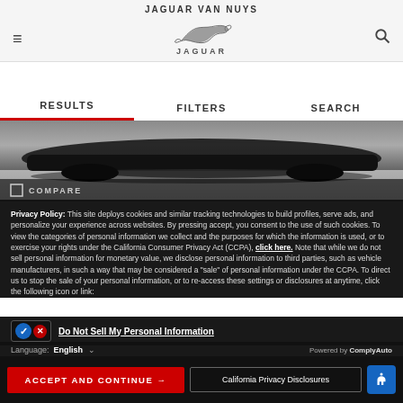JAGUAR VAN NUYS
[Figure (logo): Jaguar leaping cat logo with JAGUAR wordmark]
RESULTS   FILTERS   SEARCH
[Figure (photo): Partial view of a dark Jaguar vehicle from below, on a concrete surface, with COMPARE checkbox overlay]
Privacy Policy: This site deploys cookies and similar tracking technologies to build profiles, serve ads, and personalize your experience across websites. By pressing accept, you consent to the use of such cookies. To view the categories of personal information we collect and the purposes for which the information is used, or to exercise your rights under the California Consumer Privacy Act (CCPA), click here. Note that while we do not sell personal information for monetary value, we disclose personal information to third parties, such as vehicle manufacturers, in such a way that may be considered a "sale" of personal information under the CCPA. To direct us to stop the sale of your personal information, or to re-access these settings or disclosures at anytime, click the following icon or link:
Do Not Sell My Personal Information
Language: English — Powered by ComplyAuto
ACCEPT AND CONTINUE →   California Privacy Disclosures